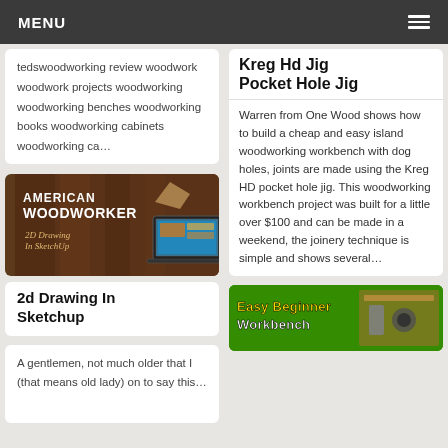MENU
tedswoodworking review woodwork woodwork projects woodworking woodworking benches woodworking books woodworking cabinets woodworking ca…
[Figure (photo): American Woodworker banner with 2D Drawing In SketchUp text and laptop image on dark wood background]
2d Drawing In Sketchup
A gentlemen, not much older that I (that means old lady) on to say this…
Kreg Hd Jig Pocket Hole Jig
Warren from One Wood shows how to build a cheap and easy island woodworking workbench with dog holes, joints are made using the Kreg HD pocket hole jig. This woodworking workbench project was built for a little over $100 and can be made in a weekend, the joinery technique is simple and shows several…
[Figure (photo): Easy Beginner Workbench banner with green background and woodworking tools]